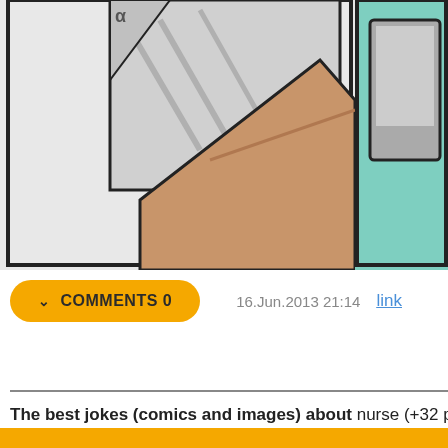[Figure (illustration): Top portion of a comic strip showing cartoon hands holding papers/books. Left panel shows a light gray background with angular paper shapes. Right panel partially visible shows a teal/mint colored background with a gray rectangular shape. Comic style with bold outlines and flat colors including brown skin tones.]
✓  COMMENTS 0    16.Jun.2013 21:14   link
The best jokes (comics and images) about nurse (+32 pi